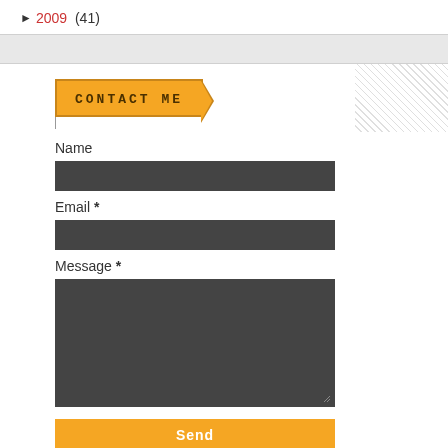► 2009 (41)
CONTACT ME
Name
Email *
Message *
Send